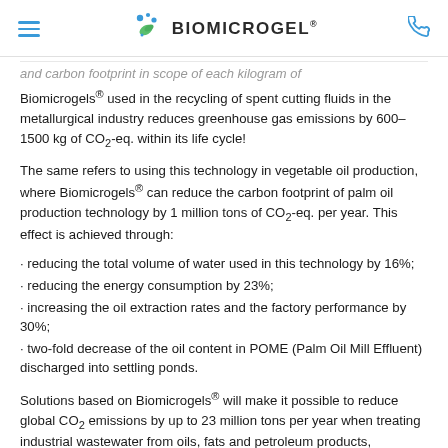BIOMICROGEL®
and carbon footprint in scope of each kilogram of Biomicrogels® used in the recycling of spent cutting fluids in the metallurgical industry reduces greenhouse gas emissions by 600–1500 kg of CO₂-eq. within its life cycle!
The same refers to using this technology in vegetable oil production, where Biomicrogels® can reduce the carbon footprint of palm oil production technology by 1 million tons of CO₂-eq. per year. This effect is achieved through:
reducing the total volume of water used in this technology by 16%;
reducing the energy consumption by 23%;
increasing the oil extraction rates and the factory performance by 30%;
two-fold decrease of the oil content in POME (Palm Oil Mill Effluent) discharged into settling ponds.
Solutions based on Biomicrogels® will make it possible to reduce global CO₂ emissions by up to 23 million tons per year when treating industrial wastewater from oils, fats and petroleum products, processing and disposing used cutting